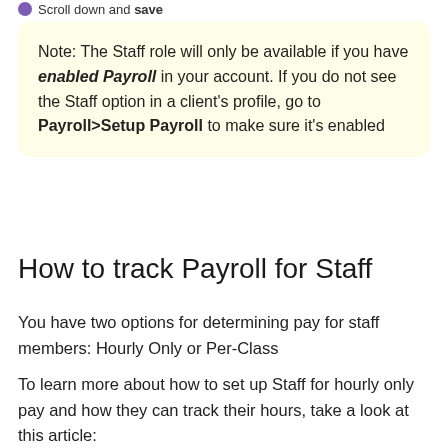Scroll down and save
Note: The Staff role will only be available if you have enabled Payroll in your account. If you do not see the Staff option in a client's profile, go to Payroll>Setup Payroll to make sure it's enabled
How to track Payroll for Staff
You have two options for determining pay for staff members: Hourly Only or Per-Class
To learn more about how to set up Staff for hourly only pay and how they can track their hours, take a look at this article: